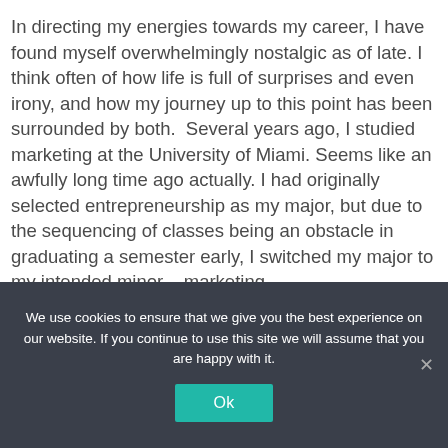In directing my energies towards my career, I have found myself overwhelmingly nostalgic as of late. I think often of how life is full of surprises and even irony, and how my journey up to this point has been surrounded by both.  Several years ago, I studied marketing at the University of Miami. Seems like an awfully long time ago actually. I had originally selected entrepreneurship as my major, but due to the sequencing of classes being an obstacle in graduating a semester early, I switched my major to my intended minor – marketing.
We use cookies to ensure that we give you the best experience on our website. If you continue to use this site we will assume that you are happy with it.